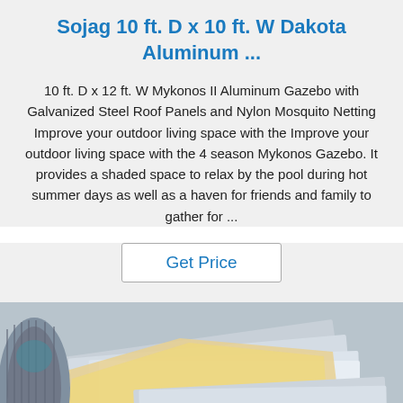Sojag 10 ft. D x 10 ft. W Dakota Aluminum ...
10 ft. D x 12 ft. W Mykonos II Aluminum Gazebo with Galvanized Steel Roof Panels and Nylon Mosquito Netting Improve your outdoor living space with the Improve your outdoor living space with the 4 season Mykonos Gazebo. It provides a shaded space to relax by the pool during hot summer days as well as a haven for friends and family to gather for ...
Get Price
[Figure (photo): Photo of aluminum/metal sheets wrapped in packaging material, with a metal cylinder visible on the left. A blue 'TOP' logo with dots appears in the bottom right corner.]